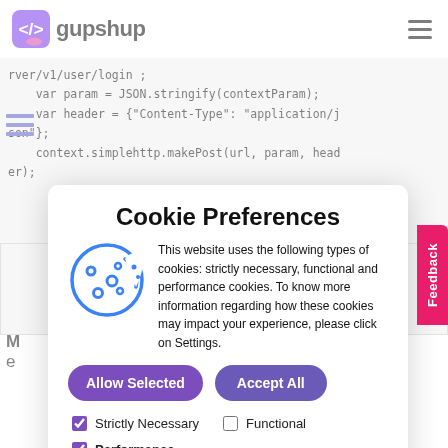gupshup
[Figure (screenshot): Code snippet showing JavaScript code: rver/v1/user/login; var param = JSON.stringify(contextParam); var header = {"Content-Type": "application/json"}; context.simplehttp.makePost(url, param, header);]
Cookie Preferences
This website uses the following types of cookies: strictly necessary, functional and performance cookies. To know more information regarding how these cookies may impact your experience, please click on Settings.
Allow Selected  Accept All
Strictly Necessary  Functional  Performance